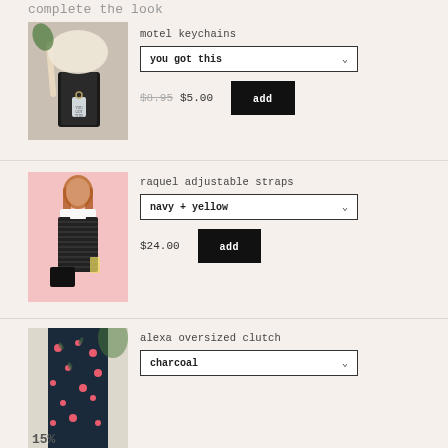complete the look
[Figure (photo): Photo of a bag with a keychain accessory on a beige background]
motel keychains
you got this
$8.95  $5.00
[Figure (photo): Photo of a woman wearing houndstooth bag straps on a pink background]
raquel adjustable straps
navy + yellow
$24.00
[Figure (photo): Photo of woman with floral dress holding a clutch, 15% badge visible]
alexa oversized clutch
charcoal
15%